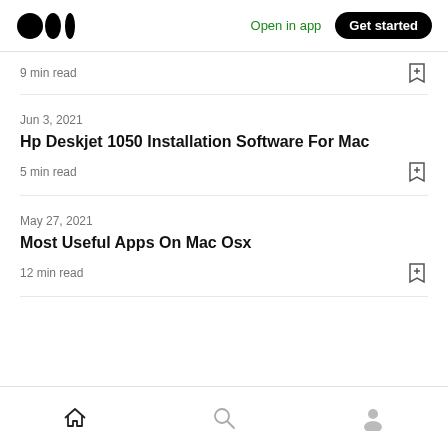Medium logo | Open in app | Get started
9 min read
Jun 3, 2021
Hp Deskjet 1050 Installation Software For Mac
5 min read
May 27, 2021
Most Useful Apps On Mac Osx
12 min read
Home | Search | Profile